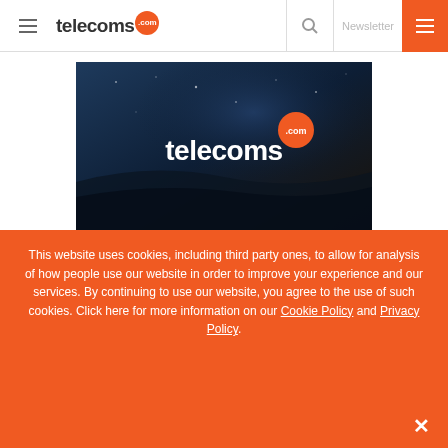telecoms.com | Newsletter
[Figure (logo): telecoms.com logo on dark blue/navy background with orange .com badge]
This website uses cookies, including third party ones, to allow for analysis of how people use our website in order to improve your experience and our services. By continuing to use our website, you agree to the use of such cookies. Click here for more information on our Cookie Policy and Privacy Policy.